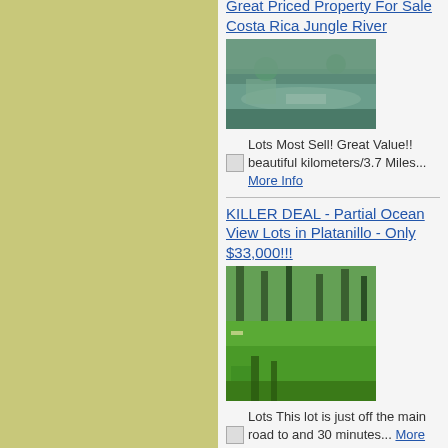[Figure (photo): Left sidebar with olive/yellow-green background color]
Great Priced Property For Sale Costa Rica Jungle River
[Figure (photo): Photo of a jungle river with greenish water and rocky banks]
Lots Most Sell! Great Value!! beautiful kilometers/3.7 Miles... More Info
KILLER DEAL - Partial Ocean View Lots in Platanillo - Only $33,000!!!
[Figure (photo): Photo of a cleared lot with tall trees in background and green grass]
Lots This lot is just off the main road to and 30 minutes... More Info
Small Residential Lots near Quepos from